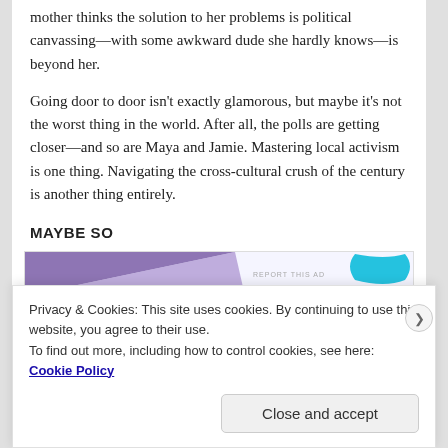mother thinks the solution to her problems is political canvassing—with some awkward dude she hardly knows—is beyond her.
Going door to door isn't exactly glamorous, but maybe it's not the worst thing in the world. After all, the polls are getting closer—and so are Maya and Jamie. Mastering local activism is one thing. Navigating the cross-cultural crush of the century is another thing entirely.
MAYBE SO
[Figure (other): Partial advertisement banner with purple triangle on left and cyan arc logo on right, with 'REPORT THIS AD' text]
Privacy & Cookies: This site uses cookies. By continuing to use this website, you agree to their use.
To find out more, including how to control cookies, see here: Cookie Policy
Close and accept